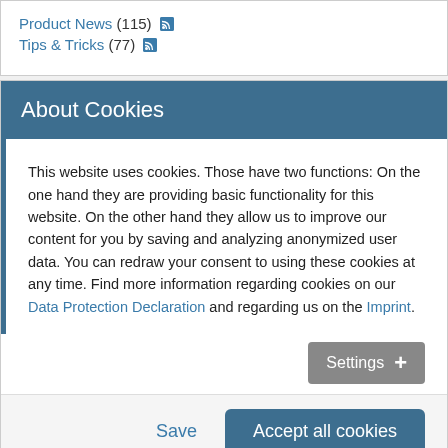Product News (115)
Tips & Tricks (77)
About Cookies
This website uses cookies. Those have two functions: On the one hand they are providing basic functionality for this website. On the other hand they allow us to improve our content for you by saving and analyzing anonymized user data. You can redraw your consent to using these cookies at any time. Find more information regarding cookies on our Data Protection Declaration and regarding us on the Imprint.
Settings +
Save
Accept all cookies
June (1)
May (1)